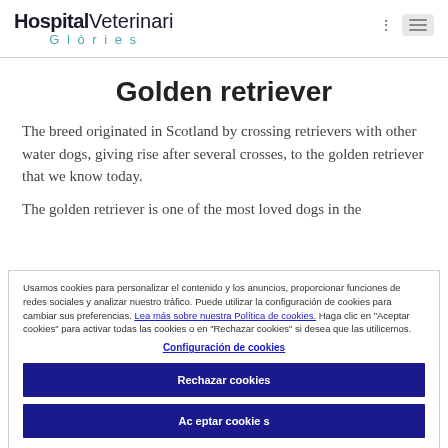Hospital Veterinari Glòries
Golden retriever
The breed originated in Scotland by crossing retrievers with other water dogs, giving rise after several crosses, to the golden retriever that we know today.
The golden retriever is one of the most loved dogs in the
Usamos cookies para personalizar el contenido y los anuncios, proporcionar funciones de redes sociales y analizar nuestro tráfico. Puede utilizar la configuración de cookies para cambiar sus preferencias. Lea más sobre nuestra Política de cookies. Haga clic en "Aceptar cookies" para activar todas las cookies o en "Rechazar cookies" si desea que las utilicemos.
Configuración de cookies
Rechazar cookies
Aceptar cookies